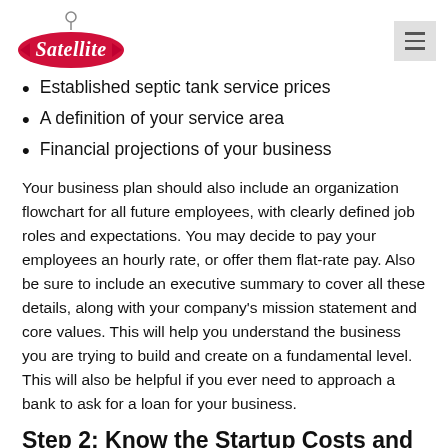Satellite [logo]
Established septic tank service prices
A definition of your service area
Financial projections of your business
Your business plan should also include an organization flowchart for all future employees, with clearly defined job roles and expectations. You may decide to pay your employees an hourly rate, or offer them flat-rate pay. Also be sure to include an executive summary to cover all these details, along with your company's mission statement and core values. This will help you understand the business you are trying to build and create on a fundamental level. This will also be helpful if you ever need to approach a bank to ask for a loan for your business.
Step 2: Know the Startup Costs and Requirements